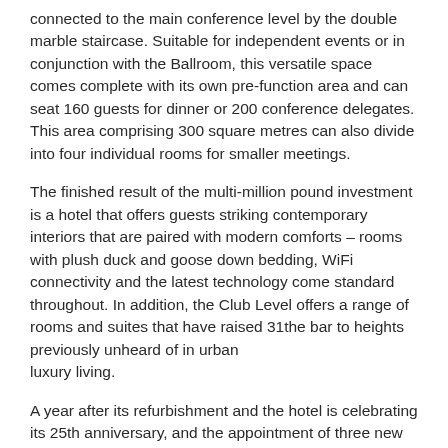connected to the main conference level by the double marble staircase. Suitable for independent events or in conjunction with the Ballroom, this versatile space comes complete with its own pre-function area and can seat 160 guests for dinner or 200 conference delegates. This area comprising 300 square metres can also divide into four individual rooms for smaller meetings.
The finished result of the multi-million pound investment is a hotel that offers guests striking contemporary interiors that are paired with modern comforts – rooms with plush duck and goose down bedding, WiFi connectivity and the latest technology come standard throughout. In addition, the Club Level offers a range of rooms and suites that have raised 31the bar to heights previously unheard of in urban luxury living.
A year after its refurbishment and the hotel is celebrating its 25th anniversary, and the appointment of three new executive personnel – John Hazard who has taken on the role of general manager, Georgina Evagora as director of sales & marketing and Moira Azzopardi who is as the new director of revenue strategy.